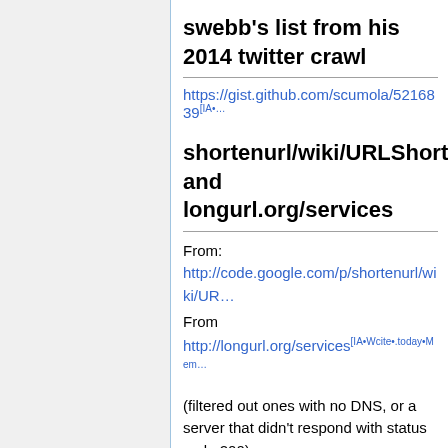swebb's list from his 2014 twitter crawl
https://gist.github.com/scumola/5216839[IA•…
shortenurl/wiki/URLShortenin… and longurl.org/services
From: http://code.google.com/p/shortenurl/wiki/UR…
From http://longurl.org/services[IA•Wcite•.today•Mem…
(filtered out ones with no DNS, or a server that didn't respond with status code 200)
go.9nl.com - claims this shorturl has been removed (?) as of 01:29, 21 June 2016 (EDT)